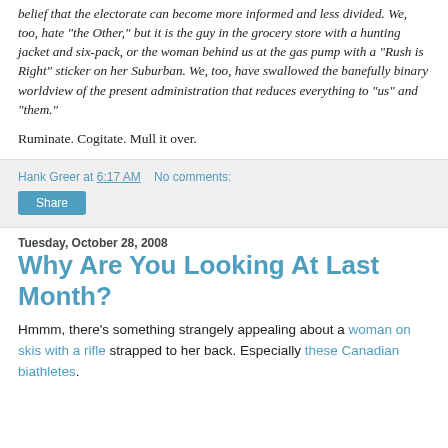belief that the electorate can become more informed and less divided. We, too, hate "the Other," but it is the guy in the grocery store with a hunting jacket and six-pack, or the woman behind us at the gas pump with a "Rush is Right" sticker on her Suburban. We, too, have swallowed the banefully binary worldview of the present administration that reduces everything to "us" and "them."
Ruminate. Cogitate. Mull it over.
Hank Greer at 6:17 AM   No comments:
Share
Tuesday, October 28, 2008
Why Are You Looking At Last Month?
Hmmm, there's something strangely appealing about a woman on skis with a rifle strapped to her back. Especially these Canadian biathletes.